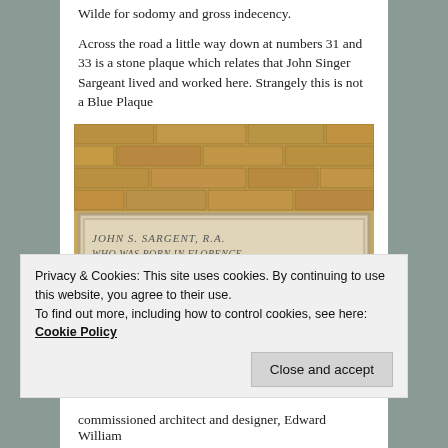Wilde for sodomy and gross indecency.
Across the road a little way down at numbers 31 and 33 is a stone plaque which relates that John Singer Sargeant lived and worked here. Strangely this is not a Blue Plaque
[Figure (photo): A stone plaque on a brick wall reading: JOHN S. SARGENT, R.A. WHO WAS BORN IN FLORENCE JAN 12. MDCCCLVI. LIVED AND WORKED TWENTY FOUR YEARS IN THIS HOUSE AND DIED HERE. APRIL 15 MCMXXV.]
Privacy & Cookies: This site uses cookies. By continuing to use this website, you agree to their use. To find out more, including how to control cookies, see here: Cookie Policy
commissioned architect and designer, Edward William